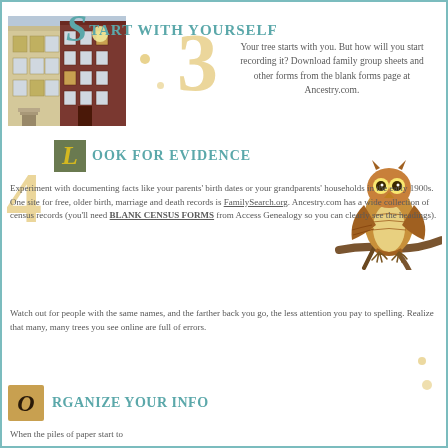[Figure (photo): Photo of brick townhouse buildings on a city street]
START WITH YOURSELF
Your tree starts with you. But how will you start recording it? Download family group sheets and other forms from the blank forms page at Ancestry.com.
LOOK FOR EVIDENCE
[Figure (illustration): Illustration of an owl perched on a branch]
Experiment with documenting facts like your parents' birth dates or your grandparents' households in the early 1900s. One site for free, older birth, marriage and death records is FamilySearch.org. Ancestry.com has a wide collection of census records (you'll need BLANK CENSUS FORMS from Access Genealogy so you can clearly see the headings).
Watch out for people with the same names, and the farther back you go, the less attention you pay to spelling. Realize that many, many trees you see online are full of errors.
ORGANIZE YOUR INFO
When the piles of paper start to